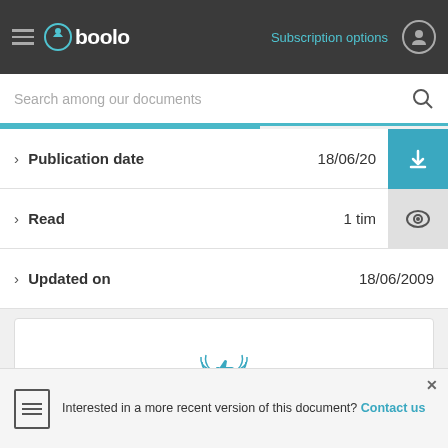Gboolo — Subscription options
Search among our documents
> Publication date   18/06/20
> Read   1 tim
> Updated on   18/06/2009
[Figure (illustration): Thumbs-up icon inside a laurel wreath, blue color]
Online reading
with our online reader
Interested in a more recent version of this document? Contact us